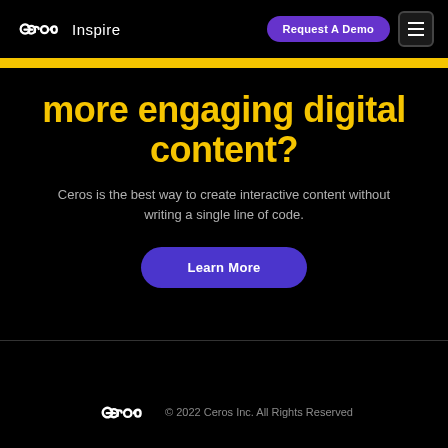Ceros Inspire | Request A Demo
more engaging digital content?
Ceros is the best way to create interactive content without writing a single line of code.
Learn More
© 2022 Ceros Inc. All Rights Reserved